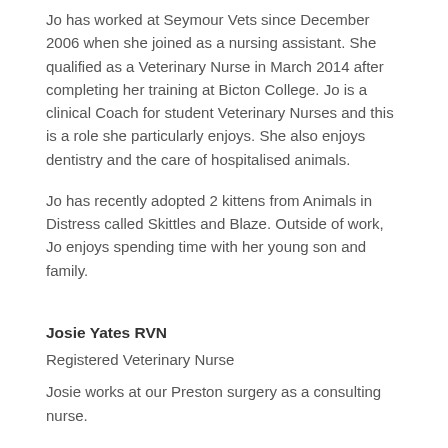Jo has worked at Seymour Vets since December 2006 when she joined as a nursing assistant. She qualified as a Veterinary Nurse in March 2014 after completing her training at Bicton College. Jo is a clinical Coach for student Veterinary Nurses and this is a role she particularly enjoys. She also enjoys dentistry and the care of hospitalised animals.
Jo has recently adopted 2 kittens from Animals in Distress called Skittles and Blaze. Outside of work, Jo enjoys spending time with her young son and family.
Josie Yates RVN
Registered Veterinary Nurse
Josie works at our Preston surgery as a consulting nurse.